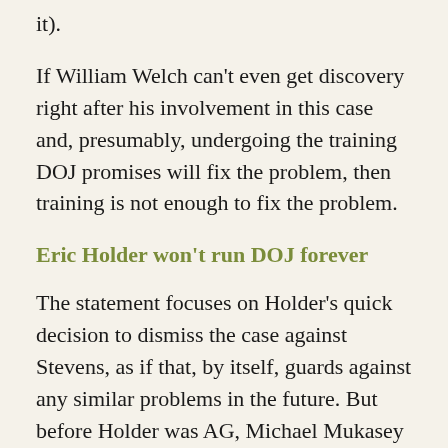it).
If William Welch can't even get discovery right after his involvement in this case and, presumably, undergoing the training DOJ promises will fix the problem, then training is not enough to fix the problem.
Eric Holder won't run DOJ forever
The statement focuses on Holder's quick decision to dismiss the case against Stevens, as if that, by itself, guards against any similar problems in the future. But before Holder was AG, Michael Mukasey was–and Judge Emmet Sullivan grew so exasperated with Mukasey's stonewalling on this case, he ordered him to personally respond to questions about the